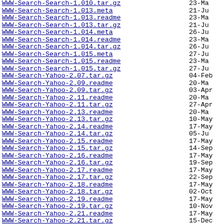WWW-Search-Search-1.010.tar.gz  23-Ma
WWW-Search-Search-1.013.meta  21-Ju
WWW-Search-Search-1.013.readme  23-Ma
WWW-Search-Search-1.013.tar.gz  21-Ju
WWW-Search-Search-1.014.meta  26-Ju
WWW-Search-Search-1.014.readme  23-Ma
WWW-Search-Search-1.014.tar.gz  26-Ju
WWW-Search-Search-1.015.meta  27-Ju
WWW-Search-Search-1.015.readme  23-Ma
WWW-Search-Search-1.015.tar.gz  27-Ju
WWW-Search-Yahoo-2.07.tar.gz  04-Feb
WWW-Search-Yahoo-2.09.readme  20-Ma
WWW-Search-Yahoo-2.09.tar.gz  03-Apr
WWW-Search-Yahoo-2.11.readme  20-Ma
WWW-Search-Yahoo-2.11.tar.gz  27-Apr
WWW-Search-Yahoo-2.13.readme  20-Ma
WWW-Search-Yahoo-2.13.tar.gz  10-May
WWW-Search-Yahoo-2.14.readme  17-May
WWW-Search-Yahoo-2.14.tar.gz  05-Ju
WWW-Search-Yahoo-2.15.readme  17-May
WWW-Search-Yahoo-2.15.tar.gz  14-Sep
WWW-Search-Yahoo-2.16.readme  17-May
WWW-Search-Yahoo-2.16.tar.gz  19-Sep
WWW-Search-Yahoo-2.17.readme  17-May
WWW-Search-Yahoo-2.17.tar.gz  22-Sep
WWW-Search-Yahoo-2.18.readme  17-May
WWW-Search-Yahoo-2.18.tar.gz  02-Oct
WWW-Search-Yahoo-2.19.readme  17-May
WWW-Search-Yahoo-2.19.tar.gz  10-Nov
WWW-Search-Yahoo-2.21.readme  17-May
WWW-Search-Yahoo-2.21.tar.gz  15-Dec